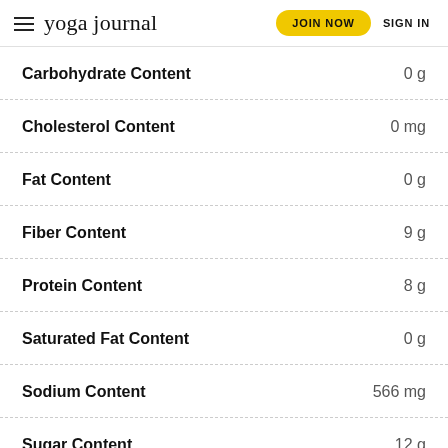yoga journal | JOIN NOW | SIGN IN
| Nutrient | Amount |
| --- | --- |
| Carbohydrate Content | 0 g |
| Cholesterol Content | 0 mg |
| Fat Content | 0 g |
| Fiber Content | 9 g |
| Protein Content | 8 g |
| Saturated Fat Content | 0 g |
| Sodium Content | 566 mg |
| Sugar Content | 12 g |